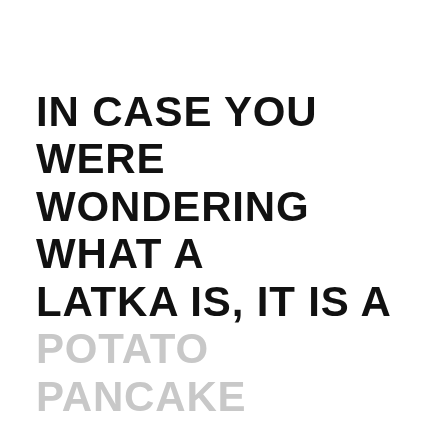IN CASE YOU WERE WONDERING WHAT A LATKA IS, IT IS A POTATO PANCAKE